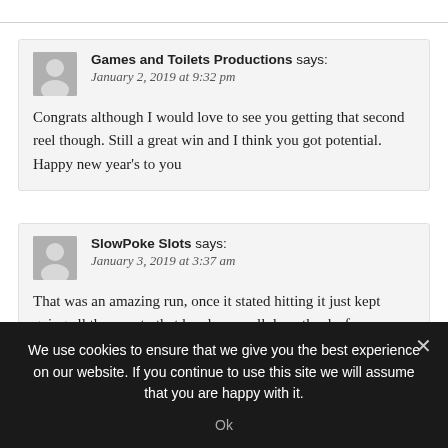Games and Toilets Productions says: January 2, 2019 at 9:32 pm
Congrats although I would love to see you getting that second reel though. Still a great win and I think you got potential. Happy new year's to you
SlowPoke Slots says: January 3, 2019 at 3:37 am
That was an amazing run, once it stated hitting it just kept going all the way to that handpay, well done thanks for
We use cookies to ensure that we give you the best experience on our website. If you continue to use this site we will assume that you are happy with it.
Ok